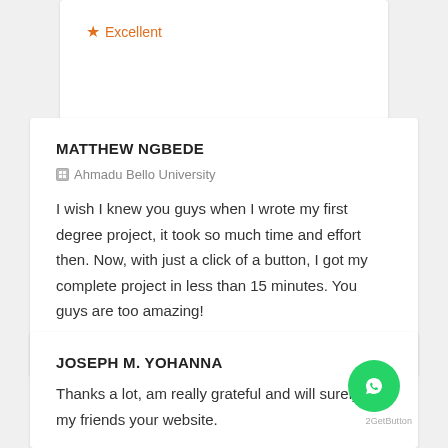Excellent
MATTHEW NGBEDE
Ahmadu Bello University
I wish I knew you guys when I wrote my first degree project, it took so much time and effort then. Now, with just a click of a button, I got my complete project in less than 15 minutes. You guys are too amazing!
Excellent
JOSEPH M. YOHANNA
Thanks a lot, am really grateful and will surely tell my friends your website.